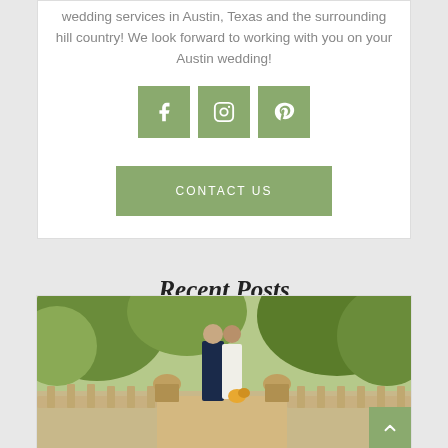wedding services in Austin, Texas and the surrounding hill country! We look forward to working with you on your Austin wedding!
[Figure (infographic): Three green square social media icon buttons: Facebook (f), Instagram (camera), Pinterest (p)]
[Figure (infographic): Green rectangular CONTACT US button]
Recent Posts
[Figure (photo): Outdoor wedding photo showing a couple on a stone bridge surrounded by lush greenery. The groom wears a navy suit and the bride wears a white dress holding flowers. A back-to-top arrow button appears in the lower right corner.]